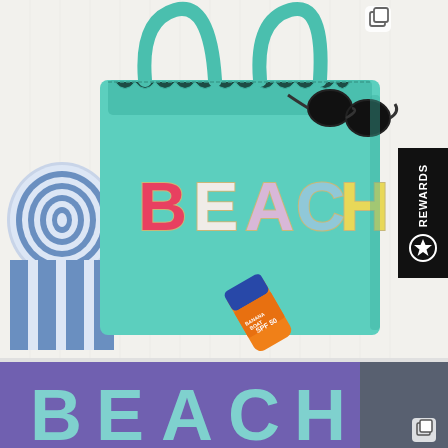[Figure (photo): A teal/turquoise beach tote bag with colorful chenille letter patches spelling 'BEACH' in red, white, pink/lavender, and yellow letters. The bag has teal handles. A rolled blue and white striped beach towel is on the left. Black sunglasses hang over the top right of the bag. An orange and blue sunscreen tube sits at the bottom front of the bag. Background is white beadboard. A black 'REWARDS' tab with a star badge icon is visible on the right edge.]
[Figure (photo): Bottom portion of a second image showing a purple hoodie or sweatshirt with 'BEACH' text in light blue/teal letters across the chest, partially cropped at the bottom of the page.]